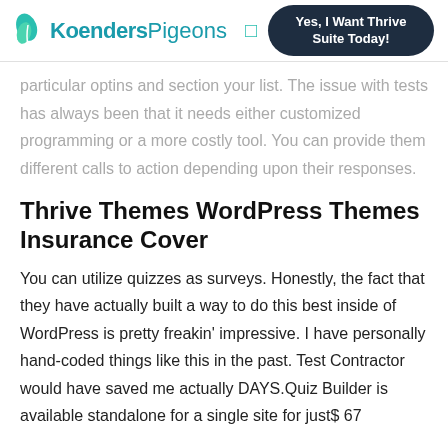KoendersPigeons | Yes, I Want Thrive Suite Today!
particular optins and section your list. The issue with tests has always been that it needs either customized programming or a more costly tool. You can provide them different calls to action depending upon their responses.
Thrive Themes WordPress Themes Insurance Cover
You can utilize quizzes as surveys. Honestly, the fact that they have actually built a way to do this best inside of WordPress is pretty freakin' impressive. I have personally hand-coded things like this in the past. Test Contractor would have saved me actually DAYS.Quiz Builder is available standalone for a single site for just$ 67